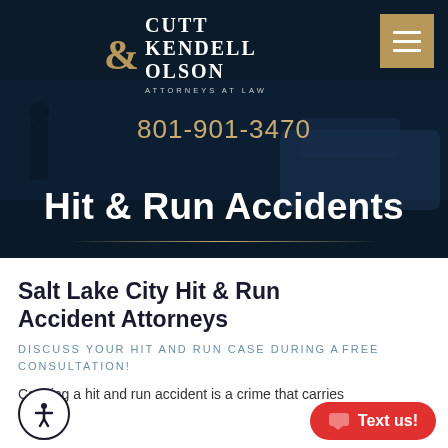[Figure (screenshot): Law firm website header with dark navy background showing a car accident scene. Contains Cutt Kendell Olson logo, menu button, phone number, and hero title.]
CUTT KENDELL OLSON ATTORNEYS AT LAW
801-901-3470
Hit & Run Accidents
Salt Lake City Hit & Run Accident Attorneys
DISCUSS YOUR HIT AND RUN CASE DURING A FREE CONSULTATION!
Causing a hit and run accident is a crime that carries